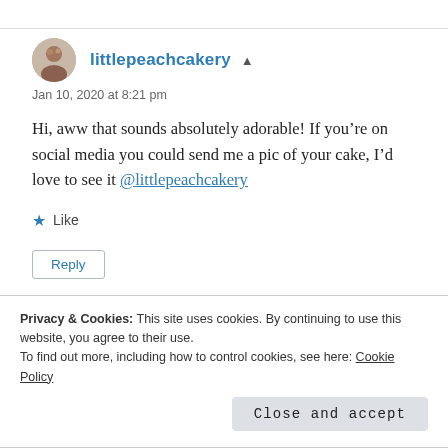littlepeachcakery
Jan 10, 2020 at 8:21 pm
Hi, aww that sounds absolutely adorable! If you’re on social media you could send me a pic of your cake, I’d love to see it @littlepeachcakery
Like
Reply
Privacy & Cookies: This site uses cookies. By continuing to use this website, you agree to their use.
To find out more, including how to control cookies, see here: Cookie Policy
Close and accept